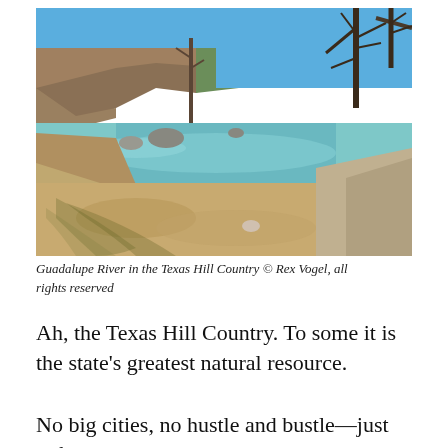[Figure (photo): Guadalupe River in the Texas Hill Country. A clear shallow river with sandy and rocky bottom, bare cypress trees along the bank, rocky limestone cliffs in the background, and a blue sky.]
Guadalupe River in the Texas Hill Country © Rex Vogel, all rights reserved
Ah, the Texas Hill Country. To some it is the state's greatest natural resource.
No big cities, no hustle and bustle—just cafes